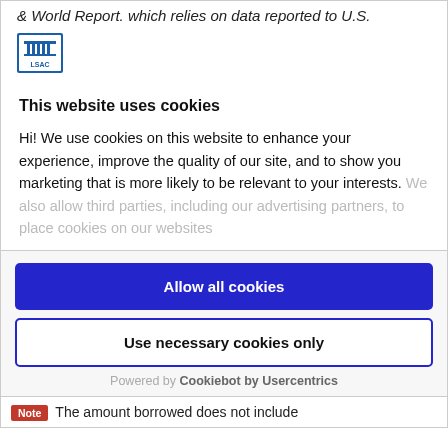& World Report. which relies on data reported to U.S.
[Figure (logo): LSAC logo — blue square icon with white building/columns graphic and 'LSAC' text below]
This website uses cookies
Hi! We use cookies on this website to enhance your experience, improve the quality of our site, and to show you marketing that is more likely to be relevant to your interests. We also allow third parties, including our advertising partners, to place cookies on our websites
Allow all cookies
Use necessary cookies only
Powered by Cookiebot by Usercentrics
Note  The amount borrowed does not include